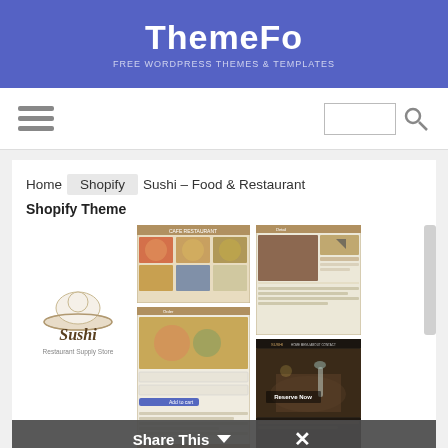ThemeFo
[Figure (screenshot): Navigation bar with hamburger menu icon on the left and search box with search icon on the right]
Home  Shopify  Sushi – Food & Restaurant  Shopify Theme
[Figure (screenshot): Website theme previews showing food/restaurant Shopify theme screenshots including food catalog pages, detail pages, and a restaurant dark theme page. A Sushi logo with chef hat is shown on the left.]
Share This